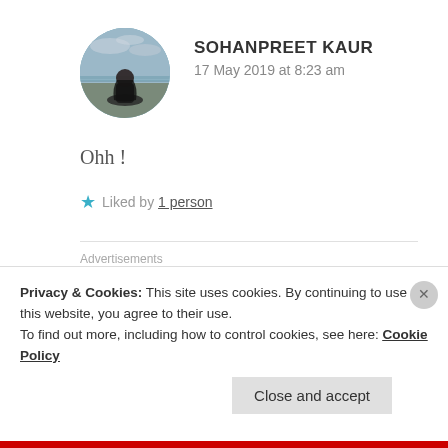[Figure (photo): Circular avatar image of a person sitting by the sea, viewed from behind, dark clothing, cloudy sky and water in background.]
SOHANPREET KAUR
17 May 2019 at 8:23 am
Ohh !
★ Liked by 1 person
Advertisements
[Figure (screenshot): Advertisement banner for P2 showing logo and text: Getting your team on the same page is easy. And free.]
Privacy & Cookies: This site uses cookies. By continuing to use this website, you agree to their use.
To find out more, including how to control cookies, see here: Cookie Policy
Close and accept